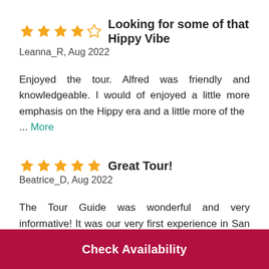⭐⭐⭐⭐☆ Looking for some of that Hippy Vibe
Leanna_R, Aug 2022
Enjoyed the tour. Alfred was friendly and knowledgeable. I would of enjoyed a little more emphasis on the Hippy era and a little more of the ... More
⭐⭐⭐⭐⭐ Great Tour!
Beatrice_D, Aug 2022
The Tour Guide was wonderful and very informative! It was our very first experience in San Francisco and he was very helpful in giving us
Check Availability